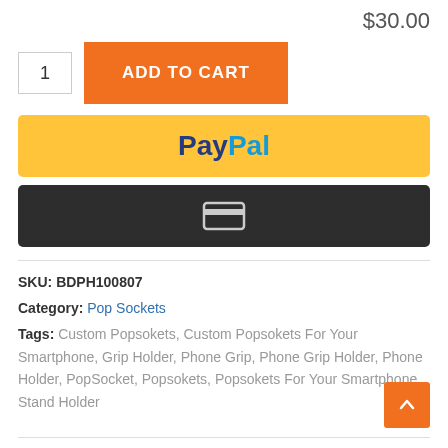$30.00
1  ADD TO CART
[Figure (other): PayPal payment button with yellow background]
[Figure (other): Credit card payment button with dark background and card icon]
SKU: BDPH100807
Category: Pop Sockets
Tags: Custom Popsokets, Custom Popsokets For Your Smartphone, Grip Holder, Phone Grip, Phone Grip Holder, Phone Holder, PopSocket, Popsokets, Popsokets For Your Smartphone, Stand Holder